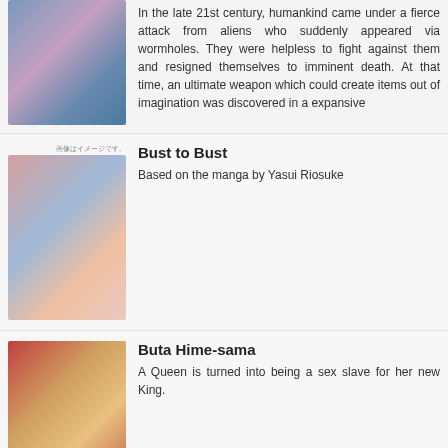[Figure (illustration): Anime-style illustration showing multiple female characters]
In the late 21st century, humankind came under a fierce attack from aliens who suddenly appeared via wormholes. They were helpless to fight against them and resigned themselves to imminent death. At that time, an ultimate weapon which could create items out of imagination was discovered in a expansive
[Figure (illustration): Anime illustration for Bust to Bust]
Bust to Bust
Based on the manga by Yasui Riosuke
[Figure (illustration): Anime illustration for Buta Hime-sama]
Buta Hime-sama
A Queen is turned into being a sex slave for her new King.